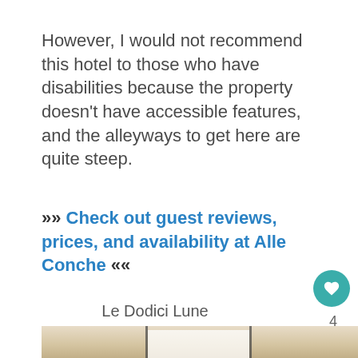However, I would not recommend this hotel to those who have disabilities because the property doesn't have accessible features, and the alleyways to get here are quite steep.
»» Check out guest reviews, prices, and availability at Alle Conche ««
Le Dodici Lune
[Figure (photo): Interior photo of a room with stone/plaster walls and white curtains]